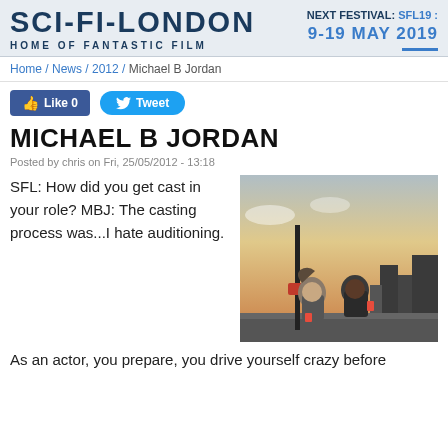SCI-FI-LONDON HOME OF FANTASTIC FILM | NEXT FESTIVAL: SFL19 : 9-19 MAY 2019
Home / News / 2012 / Michael B Jordan
MICHAEL B JORDAN
Posted by chris on Fri, 25/05/2012 - 13:18
[Figure (photo): Two people sitting on a rooftop or high ledge with a city skyline at dusk in the background]
SFL: How did you get cast in your role? MBJ: The casting process was...I hate auditioning. As an actor, you prepare, you drive yourself crazy before